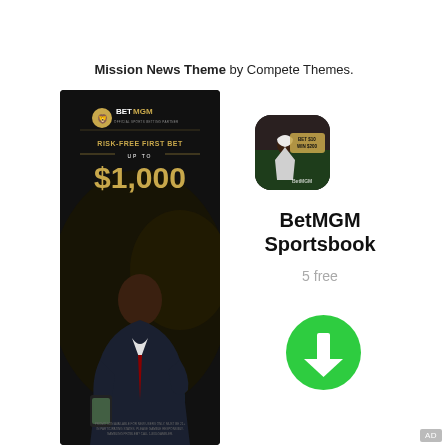Mission News Theme by Compete Themes.
[Figure (illustration): BetMGM advertisement showing a man in a suit holding a phone, with text 'RISK-FREE FIRST BET UP TO $1,000' on a dark background]
[Figure (illustration): BetMGM Sportsbook app icon showing a football player with text 'BET $10 WIN $200']
BetMGM Sportsbook
5 free
[Figure (illustration): Green circular download button with white downward arrow]
AD